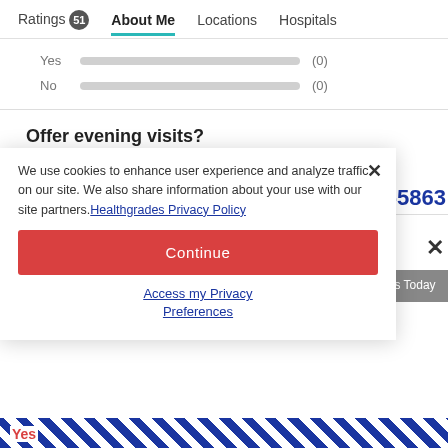Ratings 51  About Me  Locations  Hospitals
Yes (0)
No (0)
Offer evening visits?
No responses yet. What's your answer?
Yes (0)
We use cookies to enhance user experience and analyze traffic on our site. We also share information about your use with our site partners. Healthgrades Privacy Policy
Continue
Access my Privacy Preferences
442-5863
rs Today